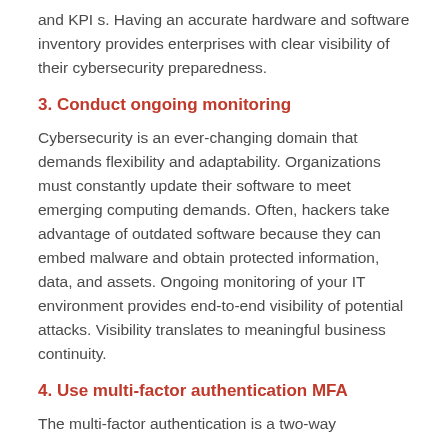and KPI s. Having an accurate hardware and software inventory provides enterprises with clear visibility of their cybersecurity preparedness.
3. Conduct ongoing monitoring
Cybersecurity is an ever-changing domain that demands flexibility and adaptability. Organizations must constantly update their software to meet emerging computing demands. Often, hackers take advantage of outdated software because they can embed malware and obtain protected information, data, and assets. Ongoing monitoring of your IT environment provides end-to-end visibility of potential attacks. Visibility translates to meaningful business continuity.
4. Use multi-factor authentication MFA
The multi-factor authentication is a two-way